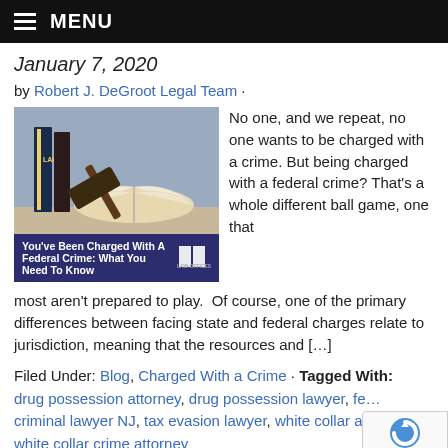MENU
January 7, 2020
by Robert J. DeGroot Legal Team ·
[Figure (photo): Photo of law books and gavel with overlay text 'You've Been Charged With A Federal Crime: What You Need To Know' and Robert J. DeGroot law firm logo]
No one, and we repeat, no one wants to be charged with a crime. But being charged with a federal crime? That's a whole different ball game, one that most aren't prepared to play.  Of course, one of the primary differences between facing state and federal charges relate to jurisdiction, meaning that the resources and […]
Filed Under: Blog, Charged With a Crime · Tagged With: drug possession attorney, drug possession lawyer, fe… criminal lawyer NJ, tax evasion lawyer, white collar a… white collar crime attorney